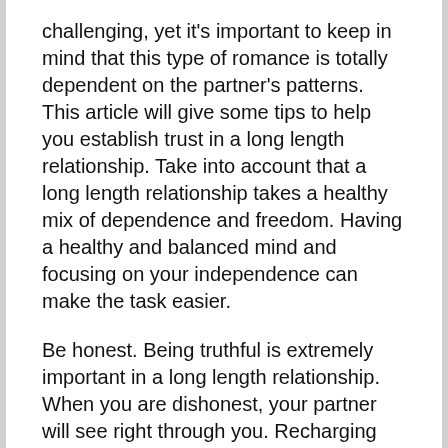challenging, yet it's important to keep in mind that this type of romance is totally dependent on the partner's patterns. This article will give some tips to help you establish trust in a long length relationship. Take into account that a long length relationship takes a healthy mix of dependence and freedom. Having a healthy and balanced mind and focusing on your independence can make the task easier.
Be honest. Being truthful is extremely important in a long length relationship. When you are dishonest, your partner will see right through you. Recharging options difficult to improve trust following your partner has lied, therefore you could conclude hurting your relationship in the long run. Likely be operational and genuine, and let your partner know that is actually not the finish of the world if they realize that you're cheating.
Talk openly. You are able to discuss the doubts and